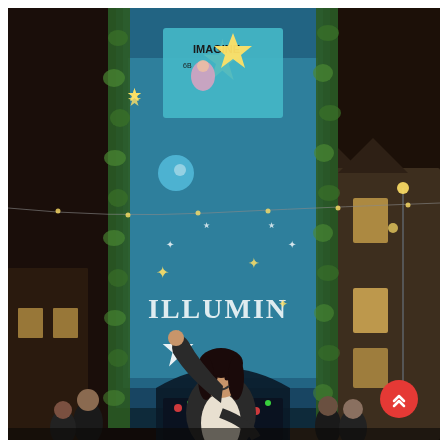[Figure (photo): Nighttime photo of a person posing with one arm raised in front of a large illuminated tower/gate decorated with a colorful light projection show. The tower displays 'ILLUMIN...' text in glowing letters, stars, and festive imagery including a sign reading 'IMAGINE' and '6B'. The structure is covered with green ivy and holiday decorations including gold star ornaments. A colorful illuminated arch/gate is visible beneath the tower. The background shows other historic buildings lit up at night. The scene appears to be a Christmas market or winter light festival. A red circular scroll-up button with double chevron arrows is visible in the bottom right corner.]